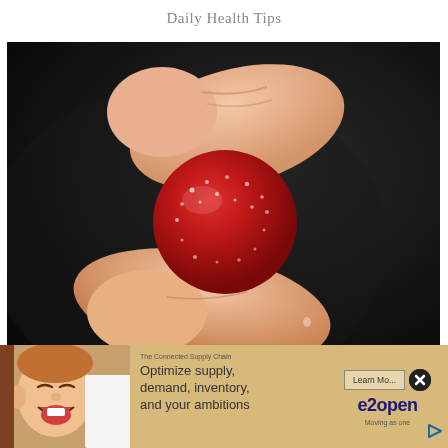Daily Health Tips
[Figure (photo): Close-up photo of a hand holding a small round red sugary gummy candy pinched between fingers against a dark background.]
Banned for 84 Years: Powerful Pain
[Figure (photo): Advertisement overlay at bottom of page. Left side shows a child laughing. Right side shows an e2open supply chain ad with text 'The Connected Supply Chain', 'Optimize supply, demand, inventory, and your ambitions', a 'Learn More' button, the e2open logo, and 'Moving as one' tagline.]